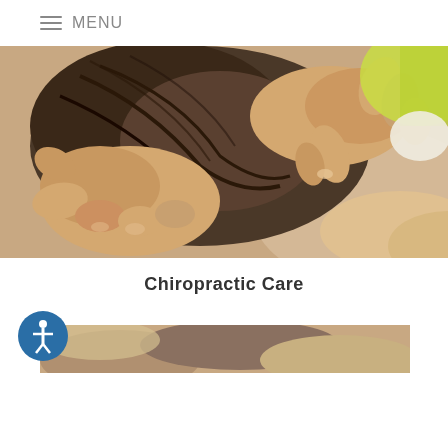MENU
[Figure (photo): Close-up photograph of a chiropractor's hands performing a neck/spinal adjustment on a patient. The hands are pressing into the base of the skull and neck area of a person lying down.]
Chiropractic Care
[Figure (photo): Partial view of a second photo showing a person receiving chiropractic or massage treatment, cropped at the bottom of the page. An accessibility icon (person with circle) is shown in the bottom-left corner.]